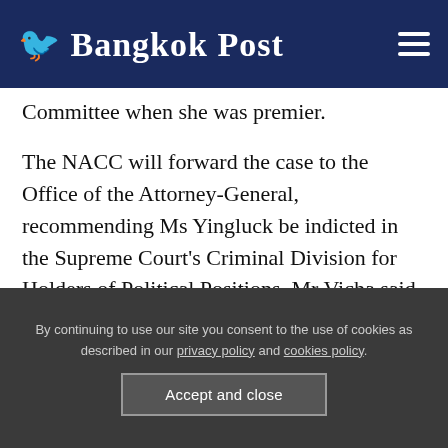Bangkok Post
Committee when she was premier.
The NACC will forward the case to the Office of the Attorney-General, recommending Ms Yingluck be indicted in the Supreme Court's Criminal Division for Holders of Political Positions, Mr Vicha said.
He said an NACC inquiry had found that the rice-pledging scheme was riddled with corruption at
By continuing to use our site you consent to the use of cookies as described in our privacy policy and cookies policy.
Accept and close